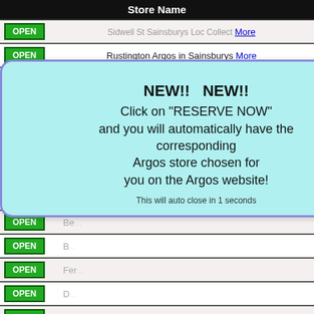| Store Name |
| --- |
| OPEN | Sidwell St Sainsburys Loc Collect More |
| OPEN | Rustington Argos in Sainsburys More |
| OPEN | Exeter Pinhoe Road Argos in Sainsburys More |
| OPEN | Old Steine Sainsburys Local Collect More |
| OPEN | Ottery St Mary Sainsburys Collect Point More |
| OPEN | Brighton Sainsburys Collection Point More |
| OPEN | Littlehampton Rd Sainsburys Collect More |
| OPEN | Po... (partial) |
| OPEN | Be... (partial) |
| OPEN | B... (partial) |
| OPEN | Fer... (partial) |
| OPEN | D... (partial) |
| OPEN | Down... (partial) |
| OPEN | (partial) |
| OPEN | (partial) |
| OPEN | (partial) |
| OPEN | P... (partial) |
| OPEN | Broadcut Argos in Sainsburys More |
| OPEN | Sedlescombe Road Argos in Sainsburys More |
| OPEN | Hedge End Argos in Sainsburys More |
| OPEN | Bitterne Argos in Sainsburys More |
| OPEN | Chard Argos in Sainsburys More |
NEW!! NEW!! Click on "RESERVE NOW" and you will automatically have the corresponding Argos store chosen for you on the Argos website! This will auto close in 1 seconds